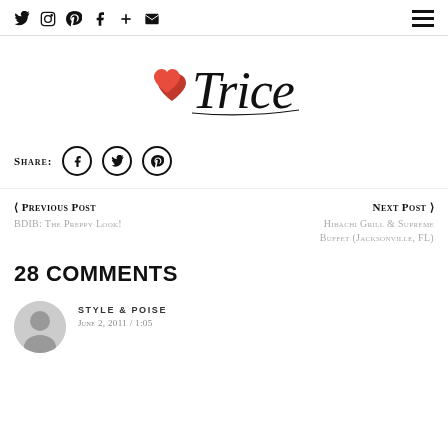Navigation bar with social icons and hamburger menu
[Figure (logo): Trice blog logo with two red hearts and cursive 'Trice' script]
Share: [Facebook] [Twitter] [Pinterest]
< Previous Post BDIB: The Preppy Look!
Next Post > Hibachi Grill & Supreme Buffet (Jacksonville, FL)
28 COMMENTS
STYLE & POISE
June 2, 2011 / 1:05